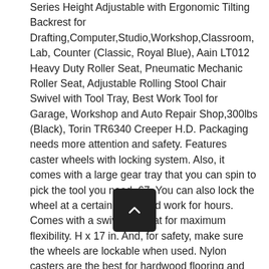Series Height Adjustable with Ergonomic Tilting Backrest for Drafting,Computer,Studio,Workshop,Classroom, Lab, Counter (Classic, Royal Blue), Aain LT012 Heavy Duty Roller Seat, Pneumatic Mechanic Roller Seat, Adjustable Rolling Stool Chair Swivel with Tool Tray, Best Work Tool for Garage, Workshop and Auto Repair Shop,300lbs (Black), Torin TR6340 Creeper H.D. Packaging needs more attention and safety. Features caster wheels with locking system. Also, it comes with a large gear tray that you can spin to pick the tool you need. 67. You can also lock the wheel at a certain place and work for hours. Comes with a swiveling seat for maximum flexibility. H x 17 in. And, for safety, make sure the wheels are lockable when used. Nylon casters are the best for hardwood flooring and they will easily move on the garage floor without damaging it. If you are familiar with tools and accessories manufacturers, you must know Dewalt is one of the leading brands in this business. CDN$ 22.51 for shipping & import fees deposit. It's one of the best rolling shop stools with wheels in terms of quality and a very stylish design. £45.14 £ 45. So, considering your own comfort preference, you ca[...] ose pneumatic stool or padded rolling seat with tool tray a[...] he additional features. As you can see, the appearance of the stool is engaging that you